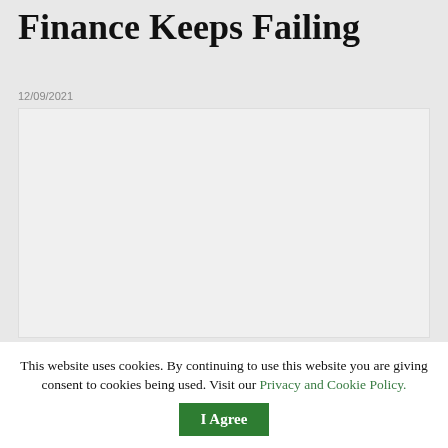Finance Keeps Failing
12/09/2021
[Figure (other): Blank/placeholder image area with light gray background]
189 SHARES
This website uses cookies. By continuing to use this website you are giving consent to cookies being used. Visit our Privacy and Cookie Policy.
I Agree